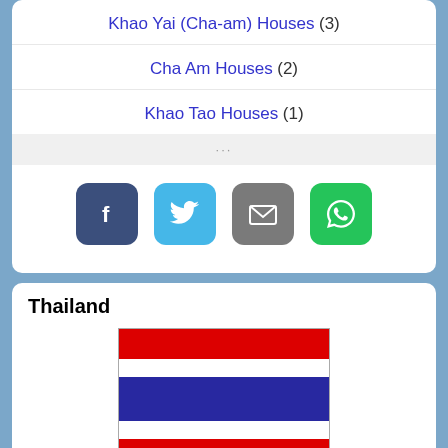Khao Yai (Cha-am) Houses (3)
Cha Am Houses (2)
Khao Tao Houses (1)
[Figure (other): Social media share buttons: Facebook, Twitter, Email, WhatsApp]
Thailand
[Figure (illustration): Thailand national flag with red, white, blue, white, red horizontal stripes]